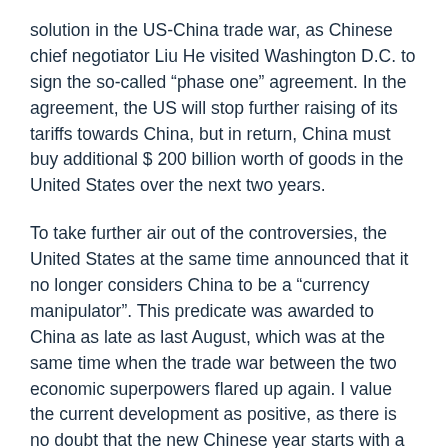solution in the US-China trade war, as Chinese chief negotiator Liu He visited Washington D.C. to sign the so-called “phase one” agreement. In the agreement, the US will stop further raising of its tariffs towards China, but in return, China must buy additional $ 200 billion worth of goods in the United States over the next two years.
To take further air out of the controversies, the United States at the same time announced that it no longer considers China to be a “currency manipulator”. This predicate was awarded to China as late as last August, which was at the same time when the trade war between the two economic superpowers flared up again. I value the current development as positive, as there is no doubt that the new Chinese year starts with a more conciliatory situation between the US and China, and where the two parties have found a platform to find solutions on outstanding disagreements.